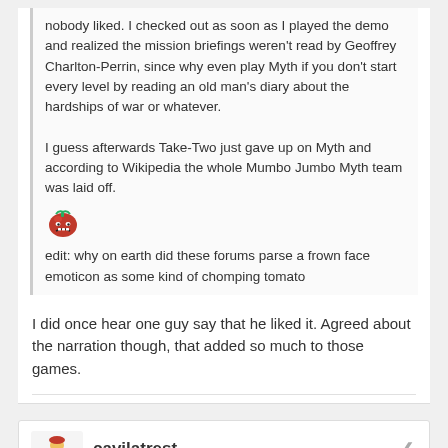nobody liked. I checked out as soon as I played the demo and realized the mission briefings weren't read by Geoffrey Charlton-Perrin, since why even play Myth if you don't start every level by reading an old man's diary about the hardships of war or whatever.

I guess afterwards Take-Two just gave up on Myth and according to Wikipedia the whole Mumbo Jumbo Myth team was laid off.

edit: why on earth did these forums parse a frown face emoticon as some kind of chomping tomato
I did once hear one guy say that he liked it. Agreed about the narration though, that added so much to those games.
cavilatrest
Posted May 9, 2016
The last 15 minutes was probably one of my favourite things.

Also don't forget to thumbs up all the Youtube videos.